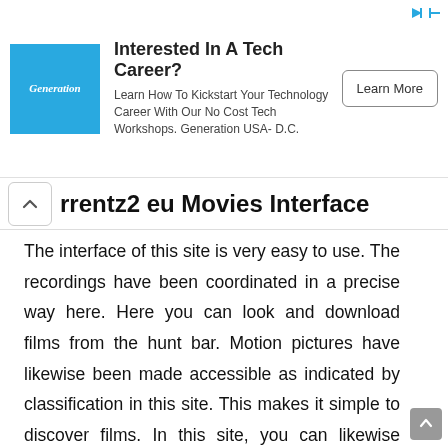[Figure (other): Advertisement banner: Generation USA - D.C. logo on blue square, text 'Interested In A Tech Career? Learn How To Kickstart Your Technology Career With Our No Cost Tech Workshops. Generation USA- D.C.' and a 'Learn More' button.]
rrentz2 eu Movies Interface
The interface of this site is very easy to use. The recordings have been coordinated in a precise way here. Here you can look and download films from the hunt bar. Motion pictures have likewise been made accessible as indicated by classification in this site. This makes it simple to discover films. In this site, you can likewise observe the tale of the film to sum things up, from where you can know the outline of the film. It might take you some time to download a film from the Torrentz2 , Torrentz2 au